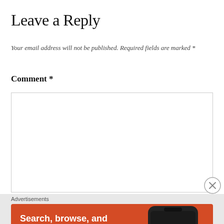Leave a Reply
Your email address will not be published. Required fields are marked *
Comment *
[Figure (screenshot): Empty comment text area input box with border]
[Figure (other): Close/dismiss button (X circle)]
Advertisements
[Figure (infographic): DuckDuckGo advertisement banner: 'Search, browse, and email with more privacy. All in One Free App' on orange background with phone image showing DuckDuckGo app]